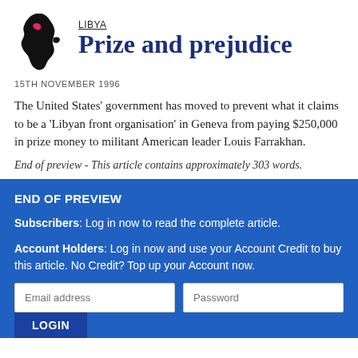[Figure (illustration): Black silhouette map of Africa with a pink/red highlight on Libya region, used as a logo/icon for the article.]
LIBYA
Prize and prejudice
15TH NOVEMBER 1996
The United States' government has moved to prevent what it claims to be a 'Libyan front organisation' in Geneva from paying $250,000 in prize money to militant American leader Louis Farrakhan.
End of preview - This article contains approximately 303 words.
END OF PREVIEW
Subscribers: Log in now to read the complete article.
Account Holders: Log in now and use your Account Credit to buy this article. No Credit? Top up your Account now.
Email address
Password
LOGIN